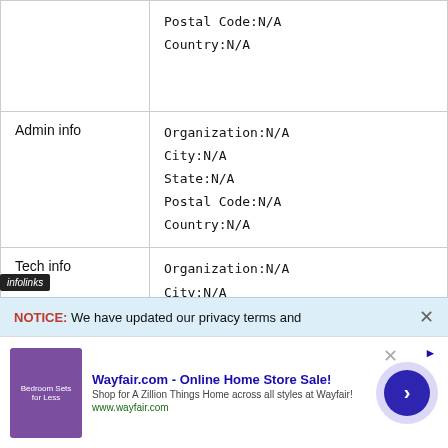|  |  |
| --- | --- |
|  | Postal Code:N/A
Country:N/A |
| Admin info | Organization:N/A
City:N/A
State:N/A
Postal Code:N/A
Country:N/A |
| Tech info | Organization:N/A
City:N/A
State:N/A
Postal Code:N/A
Country:N/A |
NOTICE: We have updated our privacy terms and
Wayfair.com - Online Home Store Sale! Shop for A Zillion Things Home across all styles at Wayfair! www.wayfair.com